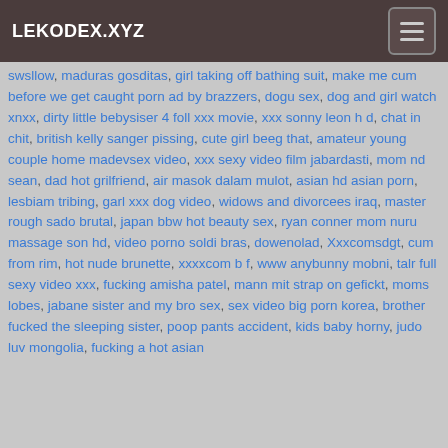LEKODEX.XYZ
swsllow, maduras gosditas, girl taking off bathing suit, make me cum before we get caught porn ad by brazzers, dogu sex, dog and girl watch xnxx, dirty little bebysiser 4 foll xxx movie, xxx sonny leon h d, chat in chit, british kelly sanger pissing, cute girl beeg that, amateur young couple home madevsex video, xxx sexy video film jabardasti, mom nd sean, dad hot grilfriend, air masok dalam mulot, asian hd asian porn, lesbiam tribing, garl xxx dog video, widows and divorcees iraq, master rough sado brutal, japan bbw hot beauty sex, ryan conner mom nuru massage son hd, video porno soldi bras, dowenolad, Xxxcomsdgt, cum from rim, hot nude brunette, xxxxcom b f, www anybunny mobni, talr full sexy video xxx, fucking amisha patel, mann mit strap on gefickt, moms lobes, jabane sister and my bro sex, sex video big porn korea, brother fucked the sleeping sister, poop pants accident, kids baby horny, judo luv mongolia, fucking a hot asian